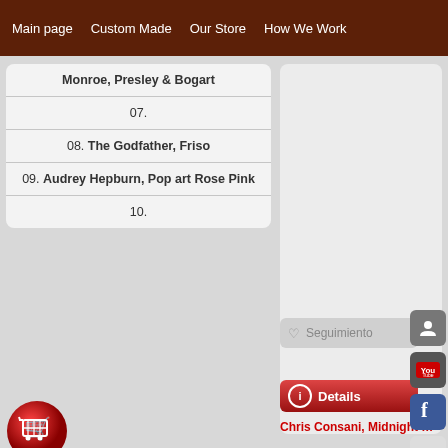Main page  Custom Made  Our Store  How We Work
Monroe, Presley & Bogart
07.
08. The Godfather, Friso
09. Audrey Hepburn, Pop art Rose Pink
10.
[Figure (illustration): Red shopping cart icon]
[Figure (screenshot): Gray right panel area]
[Figure (illustration): Red Details button with info icon]
[Figure (illustration): Gray Seguimiento button with heart icon]
Chris Consani, Midnight Matinee
[Figure (illustration): Social media icons: contact, YouTube, Facebook, Google+, RSS]
[Figure (illustration): Scroll up dark circle button with up arrow]